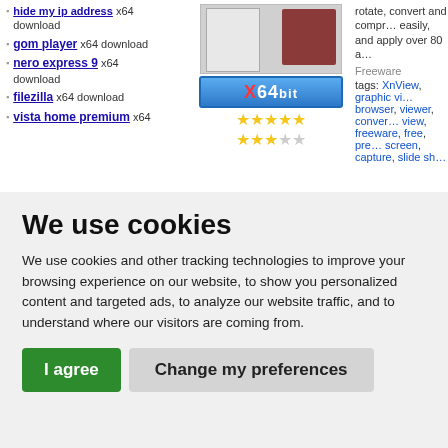hide my ip address x64 download
gom player x64 download
nero express 9 x64 download
filezilla x64 download
vista home premium x64
[Figure (screenshot): Software screenshot with document and X64bit badge with star ratings (4 filled, 2 empty stars in second row)]
rotate, convert and compress... easily, and apply over 80 a...
Freeware tags: XnView, graphic viewer, browser, viewer, converter, view, freeware, free, preview, screen, capture, slide sh...
We use cookies
We use cookies and other tracking technologies to improve your browsing experience on our website, to show you personalized content and targeted ads, to analyze our website traffic, and to understand where our visitors are coming from.
I agree
Change my preferences